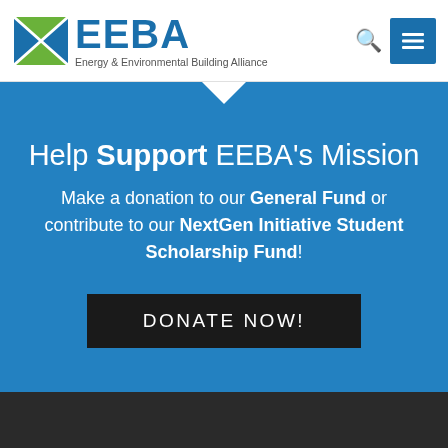EEBA - Energy & Environmental Building Alliance
Help Support EEBA's Mission
Make a donation to our General Fund or contribute to our NextGen Initiative Student Scholarship Fund!
DONATE NOW!